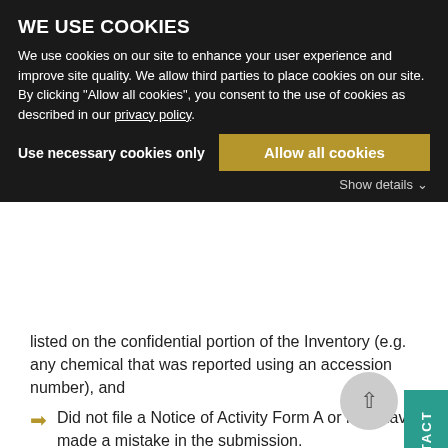WE USE COOKIES
We use cookies on our site to enhance your user experience and improve site quality. We allow third parties to place cookies on our site. By clicking "Allow all cookies", you consent to the use of cookies as described in our privacy policy.
Use necessary cookies only | Allow all cookies | Show details
listed on the confidential portion of the Inventory (e.g. any chemical that was reported using an accession number), and
Did not file a Notice of Activity Form A or may have made a mistake in the submission.
ACTION
If you manufacture, import or process a substance listed on the confidential portion of the Inventory where CBI status may be denied you should determine whether to submit, amend, or withdraw a NOA during the reporting window specified in the pre-publication notice. The rule